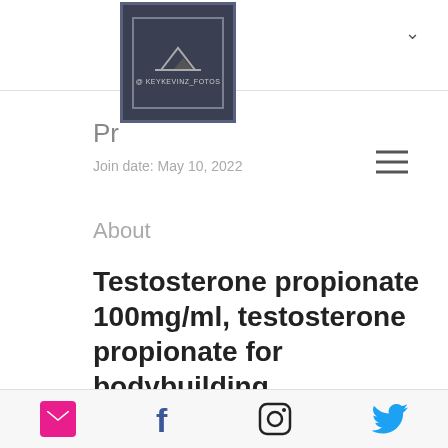[Figure (logo): Dark square logo with mountain/landscape icon and text @KEYKEVINZ_FOTOS]
Pr...
Join date: May 10, 2022
About
Testosterone propionate 100mg/ml, testosterone propionate for bodybuilding
Testosterone propionate 100mg/ml, testosterone propionate for bodybuilding -
Social icons: email, Facebook, Instagram, Twitter